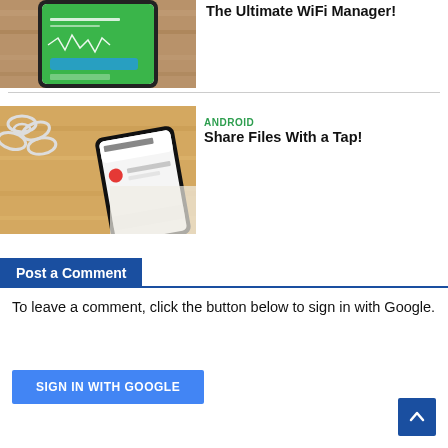[Figure (photo): Smartphone showing a green WiFi manager app screen, placed on a wooden surface]
The Ultimate WiFi Manager!
[Figure (photo): Smartphone showing file sharing app screen, lying among paper clips on a wooden surface]
ANDROID
Share Files With a Tap!
Post a Comment
To leave a comment, click the button below to sign in with Google.
SIGN IN WITH GOOGLE